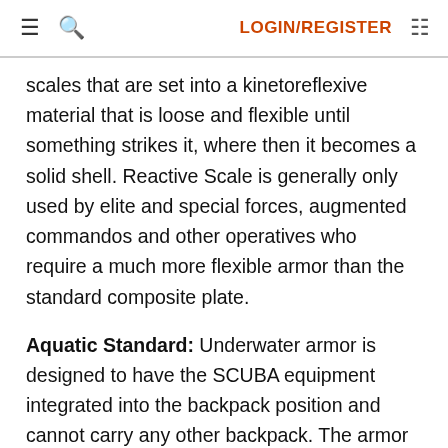≡  🔍  LOGIN/REGISTER  ▤
scales that are set into a kinetoreflexive material that is loose and flexible until something strikes it, where then it becomes a solid shell. Reactive Scale is generally only used by elite and special forces, augmented commandos and other operatives who require a much more flexible armor than the standard composite plate.
Aquatic Standard: Underwater armor is designed to have the SCUBA equipment integrated into the backpack position and cannot carry any other backpack. The armor is also equipped with a ballast system, and things like fin boots, or tow clamps to aid...